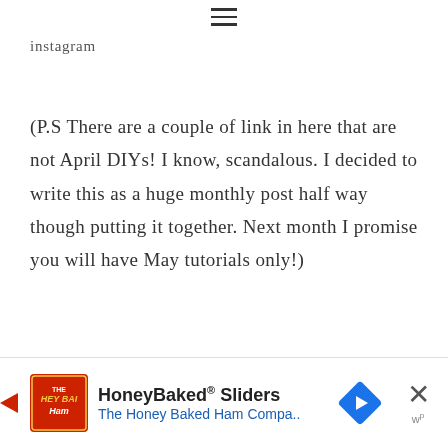≡
instagram
(P.S There are a couple of link in here that are not April DIYs! I know, scandalous. I decided to write this as a huge monthly post half way though putting it together. Next month I promise you will have May tutorials only!)
[Figure (other): Advertisement banner for HoneyBaked Sliders by The Honey Baked Ham Company with logo, blue arrow navigation button, close X button]